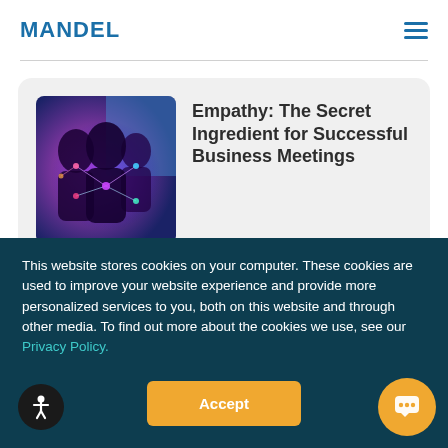MANDEL
Empathy: The Secret Ingredient for Successful Business Meetings
[Figure (photo): Abstract image of silhouetted people with glowing network connections overlaid, in purple and blue tones]
Meetings are more effective when people
This website stores cookies on your computer. These cookies are used to improve your website experience and provide more personalized services to you, both on this website and through other media. To find out more about the cookies we use, see our Privacy Policy.
Accept